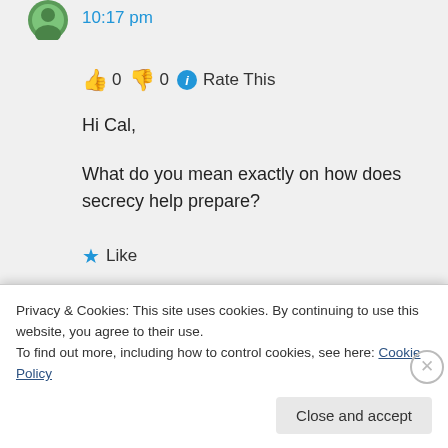10:17 pm
👍 0 👎 0 ℹ Rate This
Hi Cal,

What do you mean exactly on how does secrecy help prepare?
★ Like
Privacy & Cookies: This site uses cookies. By continuing to use this website, you agree to their use.
To find out more, including how to control cookies, see here: Cookie Policy
Close and accept